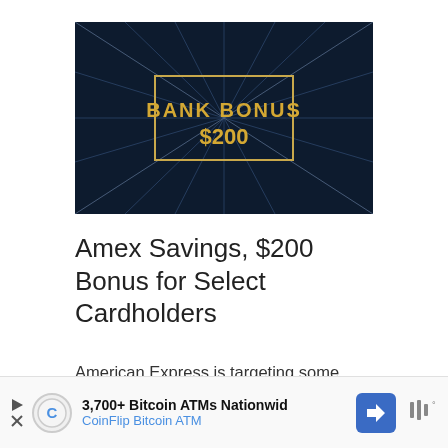[Figure (illustration): Dark blue graphic with geometric lines and a gold/yellow rectangle in the center containing the text 'BANK BONUS $200' in bold gold letters]
Amex Savings, $200 Bonus for Select Cardholders
American Express is targeting some existing cardholders with an offer to earn a $200 bonus when opening a new American Express High Yield Savings Account. You must have received an email in order to qualify.
[Figure (infographic): Advertisement banner: CoinFlip Bitcoin ATM ad with text '3,700+ Bitcoin ATMs Nationwid' and 'CoinFlip Bitcoin ATM' with a blue navigation arrow icon]